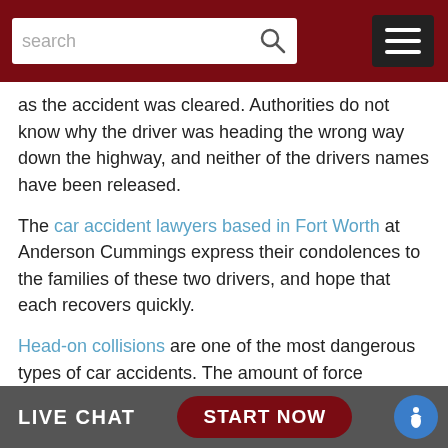search [search bar] [menu icon]
as the accident was cleared. Authorities do not know why the driver was heading the wrong way down the highway, and neither of the drivers names have been released.
The car accident lawyers based in Fort Worth at Anderson Cummings express their condolences to the families of these two drivers, and hope that each recovers quickly.
Head-on collisions are one of the most dangerous types of car accidents. The amount of force generated when two cars collide from opposite directions often leads to catastrophic injuries.
If you have been involved in a head-on crash, you need experienced legal representation on your side, making sure you receive the compensation you need for medical bills and other expenses. The experienced Fort Worth personal injury attorneys
LIVE CHAT   START NOW